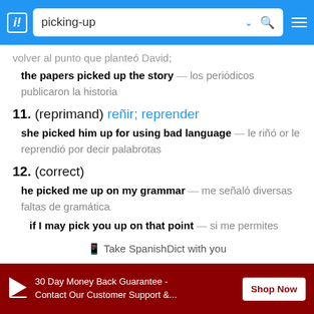picking-up
volver al punto que planteó David;
the papers picked up the story — los periódicos publicaron la historia
11. (reprimand) reñir; reprender
she picked him up for using bad language — le riñó or le reprendió por decir palabrotas
12. (correct)
he picked me up on my grammar — me señaló diversas faltas de gramática
if I may pick you up on that point — si me permites
📱 Take SpanishDict with you
[Figure (screenshot): Advertisement banner: 30 Day Money Back Guarantee - Contact Our Customer Support & ... Shop Now button on dark red background]